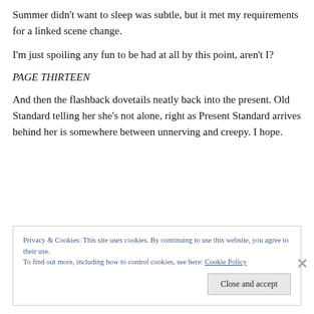Summer didn't want to sleep was subtle, but it met my requirements for a linked scene change.
I'm just spoiling any fun to be had at all by this point, aren't I?
PAGE THIRTEEN
And then the flashback dovetails neatly back into the present. Old Standard telling her she's not alone, right as Present Standard arrives behind her is somewhere between unnerving and creepy. I hope.
Privacy & Cookies: This site uses cookies. By continuing to use this website, you agree to their use.
To find out more, including how to control cookies, see here: Cookie Policy
Close and accept